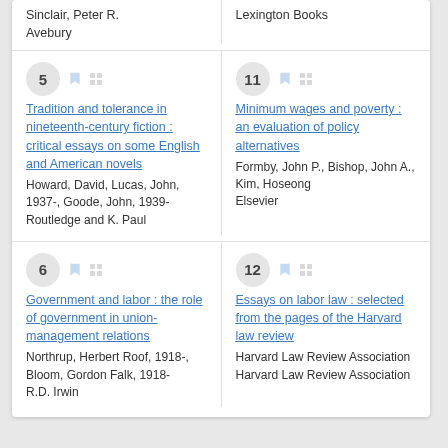Sinclair, Peter R.
Avebury
Lexington Books
5 — Tradition and tolerance in nineteenth-century fiction : critical essays on some English and American novels
Howard, David, Lucas, John, 1937-, Goode, John, 1939-
Routledge and K. Paul
11 — Minimum wages and poverty : an evaluation of policy alternatives
Formby, John P., Bishop, John A., Kim, Hoseong
Elsevier
6 — Government and labor : the role of government in union-management relations
Northrup, Herbert Roof, 1918-, Bloom, Gordon Falk, 1918-
R.D. Irwin
12 — Essays on labor law : selected from the pages of the Harvard law review
Harvard Law Review Association
Harvard Law Review Association